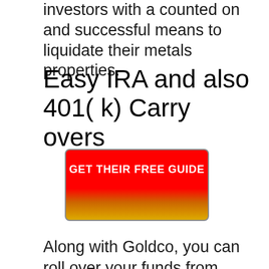investors with a counted on and successful means to liquidate their metals properties.
Easy IRA and also 401( k) Carry overs
[Figure (other): Red to orange/gold gradient button with text GET THEIR FREE GUIDE]
Along with Goldco, you can roll over your funds from existing retired life financial investment plannings such as other sustained IRAs as well as 401( k) accounts.
Information-rich Educational Funds.
If you are actually aiming to set up an